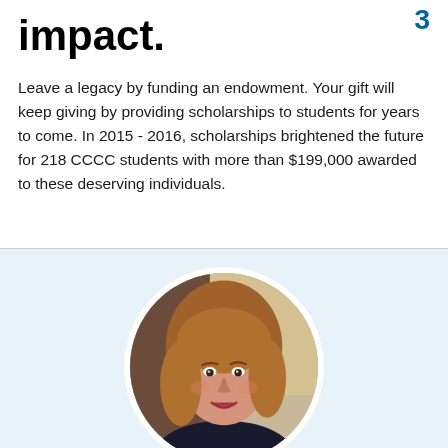impact.
Leave a legacy by funding an endowment. Your gift will keep giving by providing scholarships to students for years to come. In 2015 - 2016, scholarships brightened the future for 218 CCCC students with more than $199,000 awarded to these deserving individuals.
[Figure (photo): Circular portrait photo of a woman with shoulder-length auburn/blonde hair, smiling, wearing a dark top, photographed indoors against a curtain/brick background.]